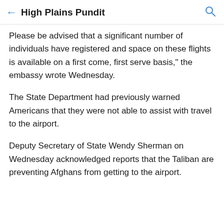High Plains Pundit
Please be advised that a significant number of individuals have registered and space on these flights is available on a first come, first serve basis," the embassy wrote Wednesday.
The State Department had previously warned Americans that they were not able to assist with travel to the airport.
Deputy Secretary of State Wendy Sherman on Wednesday acknowledged reports that the Taliban are preventing Afghans from getting to the airport.